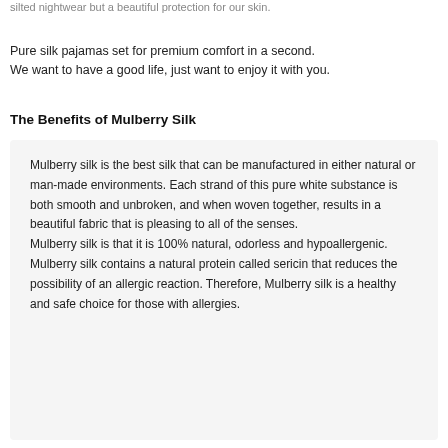silted nightwear but a beautiful protection for our skin.
Pure silk pajamas set for premium comfort in a second.
We want to have a good life, just want to enjoy it with you.
The Benefits of Mulberry Silk
Mulberry silk is the best silk that can be manufactured in either natural or man-made environments. Each strand of this pure white substance is both smooth and unbroken, and when woven together, results in a beautiful fabric that is pleasing to all of the senses.
Mulberry silk is that it is 100% natural, odorless and hypoallergenic. Mulberry silk contains a natural protein called sericin that reduces the possibility of an allergic reaction. Therefore, Mulberry silk is a healthy and safe choice for those with allergies.